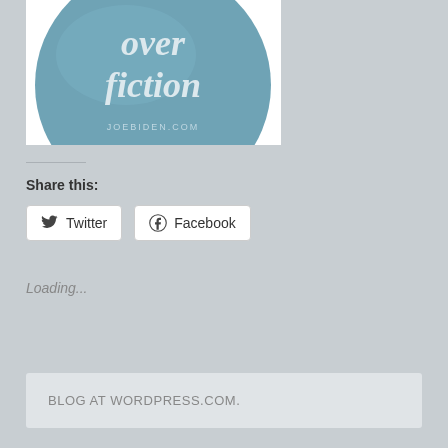[Figure (illustration): A round campaign button/pin in blue-gray color with italic white text reading 'over fiction' and 'JOEBIDEN.COM' at the bottom, partially cropped at top]
Share this:
Twitter
Facebook
Loading...
BLOG AT WORDPRESS.COM.